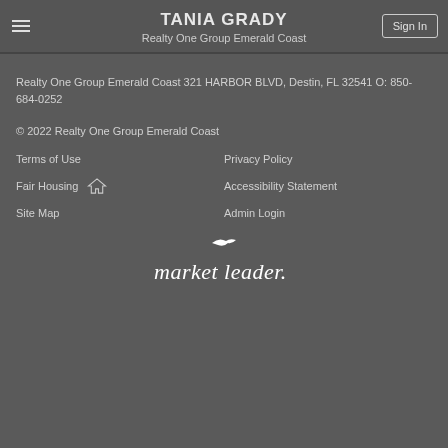TANIA GRADY
Realty One Group Emerald Coast
Realty One Group Emerald Coast 321 HARBOR BLVD, Destin, FL 32541 O: 850-684-0252
© 2022 Realty One Group Emerald Coast
Terms of Use
Privacy Policy
Fair Housing
Accessibility Statement
Site Map
Admin Login
[Figure (logo): market leader. logo in white italic text with a bird/checkmark above]